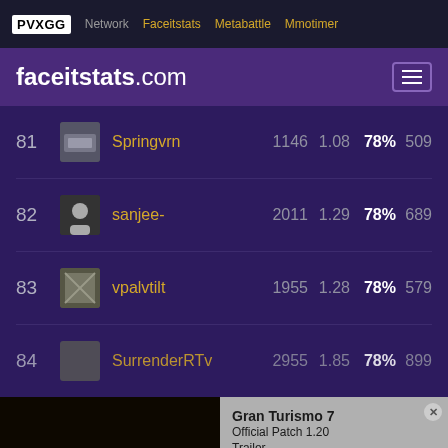PVXGG Network | Faceitstats | Metabattle | Mmotimer
faceitstats.com
| Rank | Avatar | Username | Stat1 | Stat2 | Win% | Stat4 |
| --- | --- | --- | --- | --- | --- | --- |
| 81 |  | Springvrn | 1146 | 1.08 | 78% | 509 |
| 82 |  | sanjee- | 2011 | 1.29 | 78% | 689 |
| 83 |  | vpalvtilt | 1955 | 1.28 | 78% | 579 |
| 84 |  | SurrenderRTv | 2955 | 1.85 | 78% | 899 |
[Figure (screenshot): Gran Turismo 7 Official Patch 1.20 Trailer video overlay with error message: The media could not be loaded, either because the server or network failed or because the format is not supported.]
| Rank | Avatar | Username | Stat1 | Stat2 | Win% | Stat4 |
| --- | --- | --- | --- | --- | --- | --- |
| 87 |  | Pomemade | 948 | 1.14 | 77% | 499 |